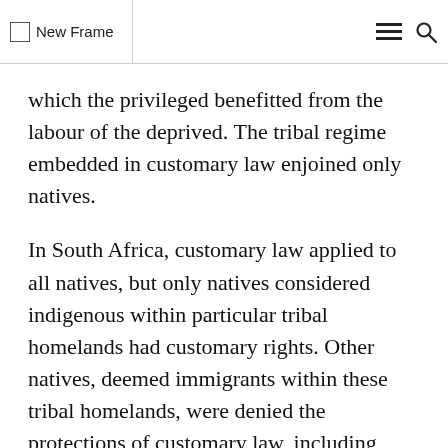New Frame
which the privileged benefitted from the labour of the deprived. The tribal regime embedded in customary law enjoined only natives.
In South Africa, customary law applied to all natives, but only natives considered indigenous within particular tribal homelands had customary rights. Other natives, deemed immigrants within these tribal homelands, were denied the protections of customary law, including customary rights to land. In the United States, too, natives considered nonindigenous within a particular reservation